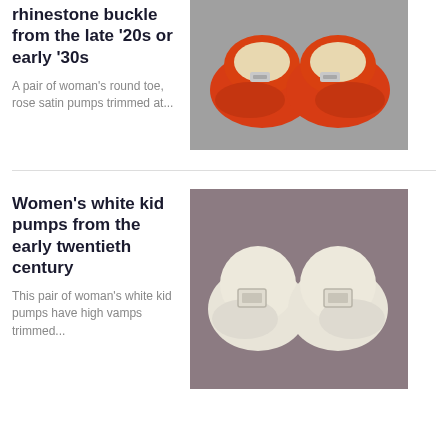rhinestone buckle from the late '20s or early '30s
A pair of woman's round toe, rose satin pumps trimmed at...
[Figure (photo): A pair of red/rose satin pumps with rhinestone buckles, viewed from above on a grey background]
Women's white kid pumps from the early twentieth century
This pair of woman's white kid pumps have high vamps trimmed...
[Figure (photo): A pair of white kid leather pumps with rectangular buckles, viewed from above on a mauve/grey background]